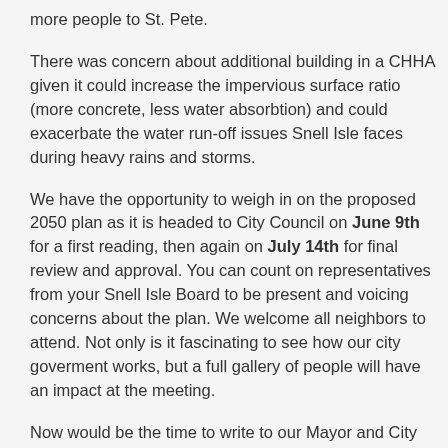more people to St. Pete.
There was concern about additional building in a CHHA given it could increase the impervious surface ratio (more concrete, less water absorbtion) and could exacerbate the water run-off issues Snell Isle faces during heavy rains and storms.
We have the opportunity to weigh in on the proposed 2050 plan as it is headed to City Council on June 9th for a first reading, then again on July 14th for final review and approval. You can count on representatives from your Snell Isle Board to be present and voicing concerns about the plan. We welcome all neighbors to attend. Not only is it fascinating to see how our city goverment works, but a full gallery of people will have an impact at the meeting.
Now would be the time to write to our Mayor and City Council members, as well as weigh in with Liz Abernethy and Derek Kilborn as they are the authors of the plan. For